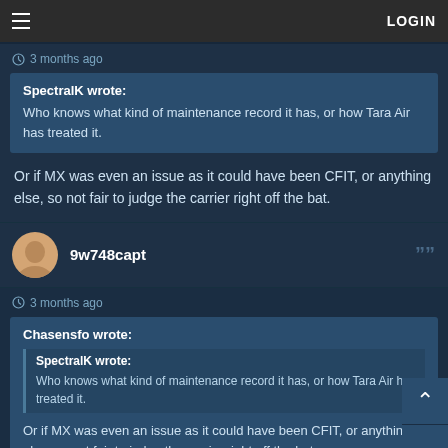≡   LOGIN
3 months ago
SpectralK wrote:
Who knows what kind of maintenance record it has, or how Tara Air has treated it.
Or if MX was even an issue as it could have been CFIT, or anything else, so not fair to judge the carrier right off the bat.
9w748capt
3 months ago
Chasensfo wrote:
SpectralK wrote:
Who knows what kind of maintenance record it has, or how Tara Air has treated it.
Or if MX was even an issue as it could have been CFIT, or anything else, so not fair to judge the carrier right off the bat.